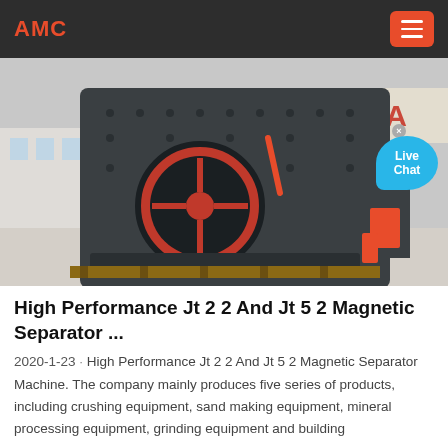AMC
[Figure (photo): A large industrial impact crusher or hammer mill machine, dark grey/black color with orange/red circular flywheel, sitting on wooden pallets in an outdoor industrial yard. A 'Live Chat' bubble overlay is visible in the bottom right corner of the image.]
High Performance Jt 2 2 And Jt 5 2 Magnetic Separator ...
2020-1-23 · High Performance Jt 2 2 And Jt 5 2 Magnetic Separator Machine. The company mainly produces five series of products, including crushing equipment, sand making equipment, mineral processing equipment, grinding equipment and building